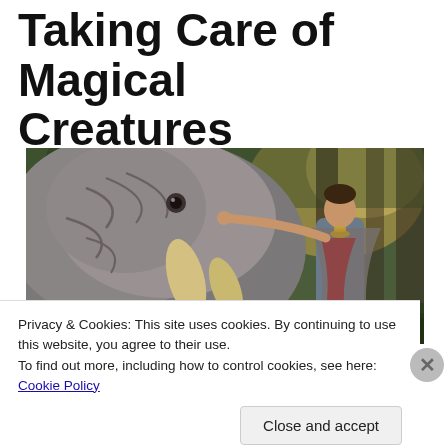Taking Care of Magical Creatures
[Figure (photo): A person in wizard/fantasy attire reaching up to touch a large grey magical beast with tusks, surrounded by forest trees with warm light in the background. Screenshot from a video game (likely Hogwarts Legacy).]
Privacy & Cookies: This site uses cookies. By continuing to use this website, you agree to their use.
To find out more, including how to control cookies, see here: Cookie Policy
Close and accept